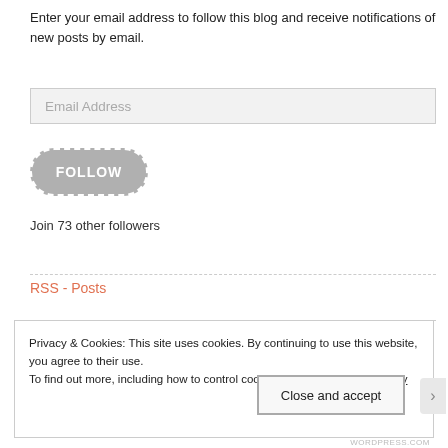Enter your email address to follow this blog and receive notifications of new posts by email.
Email Address
[Figure (other): FOLLOW button with dashed border and rounded pill shape in gray]
Join 73 other followers
RSS - Posts
Privacy & Cookies: This site uses cookies. By continuing to use this website, you agree to their use. To find out more, including how to control cookies, see here: Cookie Policy
Close and accept